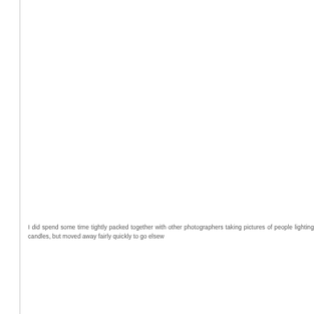I did spend some time tightly packed together with other photographers taking pictures of people lighting candles, but moved away fairly quickly to go elsew...